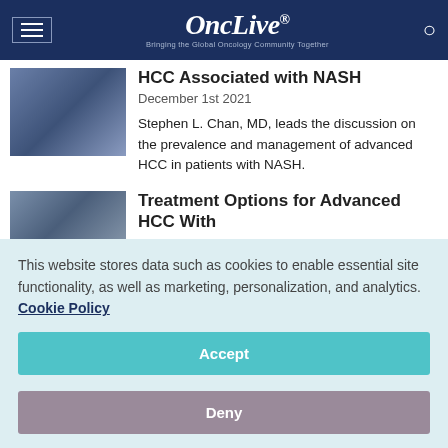OncLive® — Bringing the Global Oncology Community Together
HCC Associated with NASH
December 1st 2021
Stephen L. Chan, MD, leads the discussion on the prevalence and management of advanced HCC in patients with NASH.
Treatment Options for Advanced HCC With
This website stores data such as cookies to enable essential site functionality, as well as marketing, personalization, and analytics. Cookie Policy
Accept
Deny